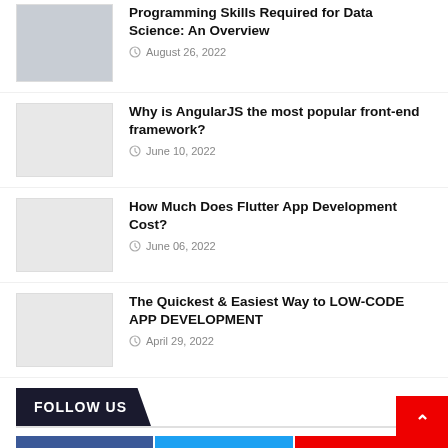Programming Skills Required for Data Science: An Overview — August 26, 2022
Why is AngularJS the most popular front-end framework? — June 10, 2022
How Much Does Flutter App Development Cost? — June 06, 2022
The Quickest & Easiest Way to LOW-CODE APP DEVELOPMENT — April 29, 2022
FOLLOW US
Facebook: 10k | Twitter: 3.1k | YouTube: 2.7k